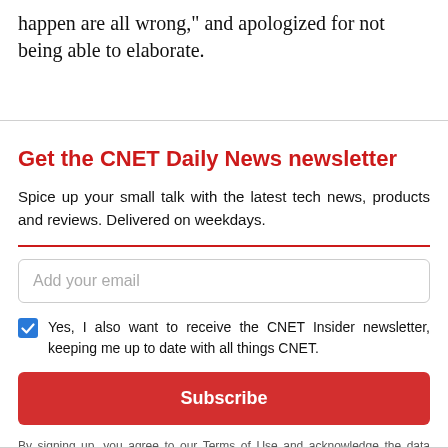happen are all wrong," and apologized for not being able to elaborate.
Get the CNET Daily News newsletter
Spice up your small talk with the latest tech news, products and reviews. Delivered on weekdays.
Add your email
Yes, I also want to receive the CNET Insider newsletter, keeping me up to date with all things CNET.
Subscribe
By signing up, you agree to our Terms of Use and acknowledge the data practices in our Privacy Policy. You may unsubscribe at any time.